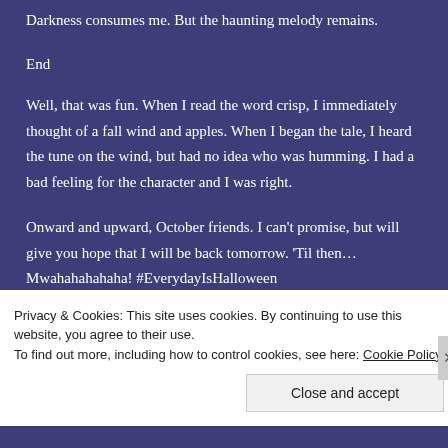Darkness consumes me. But the haunting melody remains.
End
Well, that was fun. When I read the word crisp, I immediately thought of a fall wind and apples. When I began the tale, I heard the tune on the wind, but had no idea who was humming. I had a bad feeling for the character and I was right.
Onward and upward, October friends. I can't promise, but will give you hope that I will be back tomorrow. 'Til then… Mwahahahahaha! #EverydayIsHalloween
Privacy & Cookies: This site uses cookies. By continuing to use this website, you agree to their use.
To find out more, including how to control cookies, see here: Cookie Policy